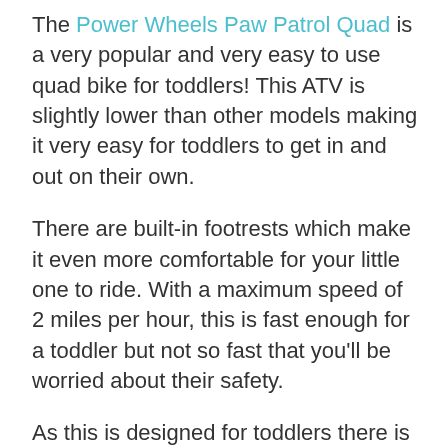The Power Wheels Paw Patrol Quad is a very popular and very easy to use quad bike for toddlers! This ATV is slightly lower than other models making it very easy for toddlers to get in and out on their own.
There are built-in footrests which make it even more comfortable for your little one to ride. With a maximum speed of 2 miles per hour, this is fast enough for a toddler but not so fast that you'll be worried about their safety.
As this is designed for toddlers there is only a forward motion that is activated by the push of a button.